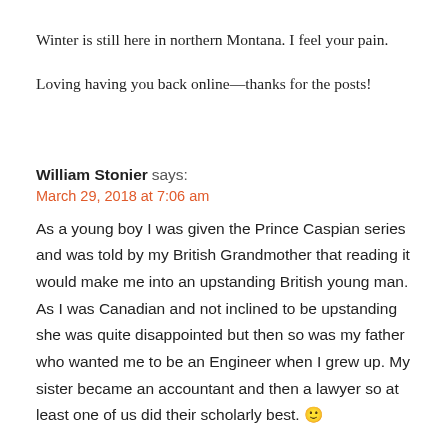Winter is still here in northern Montana. I feel your pain.
Loving having you back online—thanks for the posts!
William Stonier says:
March 29, 2018 at 7:06 am
As a young boy I was given the Prince Caspian series and was told by my British Grandmother that reading it would make me into an upstanding British young man. As I was Canadian and not inclined to be upstanding she was quite disappointed but then so was my father who wanted me to be an Engineer when I grew up. My sister became an accountant and then a lawyer so at least one of us did their scholarly best. 🙂